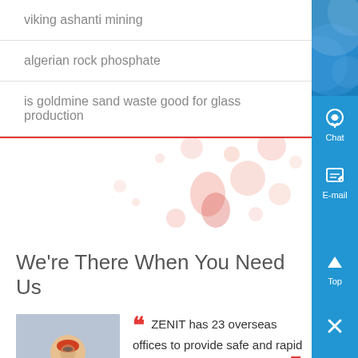viking ashanti mining
algerian rock phosphate
is goldmine sand waste good for glass production
[Figure (illustration): Decorative image with colorful droplet/sphere shapes on white background, separated by a red horizontal line]
We're There When You Need Us
[Figure (photo): Person wearing hard hat, glasses, and blue/yellow work uniform with arms crossed]
ZENIT has 23 overseas offices to provide safe and rapid services for local customers. - Jhon Kalis